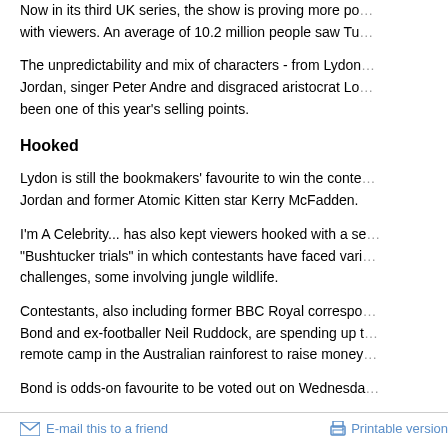Now in its third UK series, the show is proving more popular with viewers. An average of 10.2 million people saw Tu...
The unpredictability and mix of characters - from Lydon, Jordan, singer Peter Andre and disgraced aristocrat Lo... been one of this year's selling points.
Hooked
Lydon is still the bookmakers' favourite to win the conte... Jordan and former Atomic Kitten star Kerry McFadden.
I'm A Celebrity... has also kept viewers hooked with a se... "Bushtucker trials" in which contestants have faced vari... challenges, some involving jungle wildlife.
Contestants, also including former BBC Royal correspon... Bond and ex-footballer Neil Ruddock, are spending up t... remote camp in the Australian rainforest to raise money...
Bond is odds-on favourite to be voted out on Wednesda...
E-mail this to a friend    Printable version
PRODUCTS AND SERVICES
E-mail news  Mobiles  Alerts  News feeds  Podc...
News Front Page | Africa | Americas | Asia-Pacific | Europe | Middle East | South Asia | UK | Business | Entertainment | Science/Nature | Technology | Health | Have Your Say | In Pictures | Week at a Glance | Country Profiles | In Depth | Programmes
© BBC MMIX